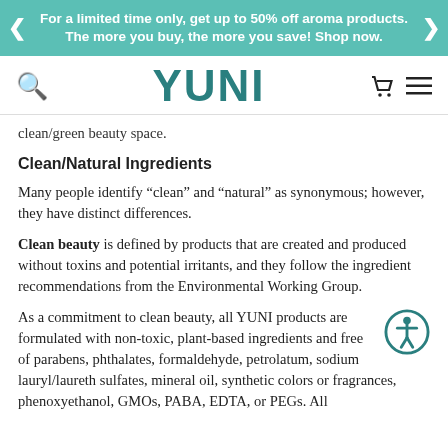For a limited time only, get up to 50% off aroma products. The more you buy, the more you save! Shop now.
[Figure (logo): YUNI logo in teal with search icon on left and cart/menu icons on right]
clean/green beauty space.
Clean/Natural Ingredients
Many people identify “clean” and “natural” as synonymous; however, they have distinct differences.
Clean beauty is defined by products that are created and produced without toxins and potential irritants, and they follow the ingredient recommendations from the Environmental Working Group.
As a commitment to clean beauty, all YUNI products are formulated with non-toxic, plant-based ingredients and free of parabens, phthalates, formaldehyde, petrolatum, sodium lauryl/laureth sulfates, mineral oil, synthetic colors or fragrances, phenoxyethanol, GMOs, PABA, EDTA, or PEGs. All